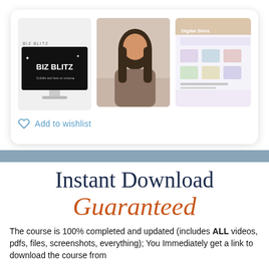[Figure (screenshot): Three course preview thumbnails inside a white card: (1) Biz Blitz course shown on a monitor with dark background and 'BIZ BLITZ' text, (2) video thumbnail of a woman with long dark hair speaking, (3) a blurred website/shop screenshot.]
Add to wishlist
Instant Download Guaranteed
The course is 100% completed and updated (includes ALL videos, pdfs, files, screenshots, everything); You Immediately get a link to download the course from